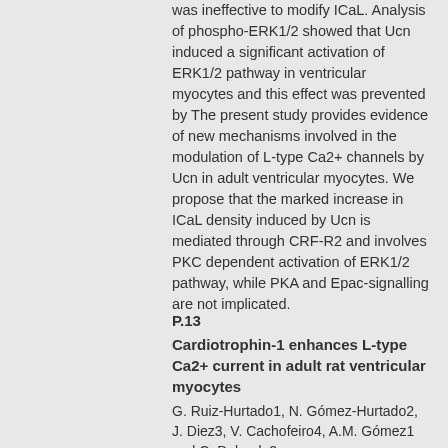was ineffective to modify ICaL. Analysis of phospho-ERK1/2 showed that Ucn induced a significant activation of ERK1/2 pathway in ventricular myocytes and this effect was prevented by The present study provides evidence of new mechanisms involved in the modulation of L-type Ca2+ channels by Ucn in adult ventricular myocytes. We propose that the marked increase in ICaL density induced by Ucn is mediated through CRF-R2 and involves PKC dependent activation of ERK1/2 pathway, while PKA and Epac-signalling are not implicated.
P.13
Cardiotrophin-1 enhances L-type Ca2+ current in adult rat ventricular myocytes
G. Ruiz-Hurtado1, N. Gómez-Hurtado2, J. Diez3, V. Cachofeiro4, A.M. Gómez1 and C. Delgado2.
1U-637, INSERM, Montpellier, France; 2Department of Pharmacology, School of Medicine,